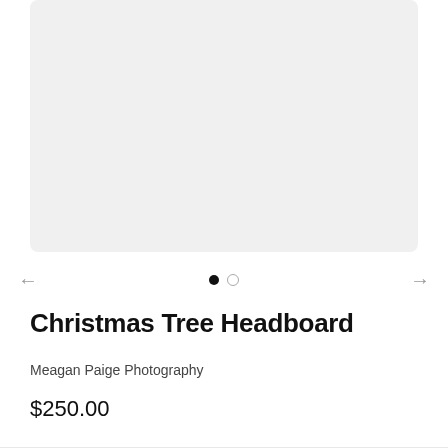[Figure (photo): Light gray placeholder image area for product photo of Christmas Tree Headboard]
Christmas Tree Headboard
Meagan Paige Photography
$250.00